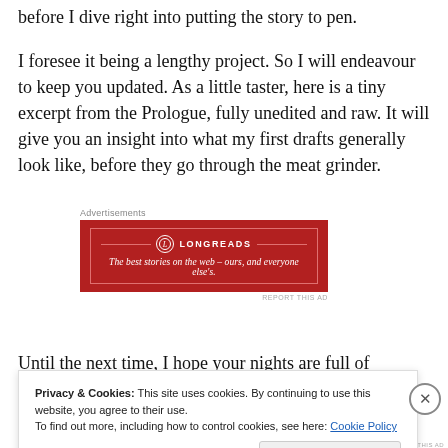before I dive right into putting the story to pen.
I foresee it being a lengthy project. So I will endeavour to keep you updated. As a little taster, here is a tiny excerpt from the Prologue, fully unedited and raw. It will give you an insight into what my first drafts generally look like, before they go through the meat grinder.
[Figure (other): Longreads advertisement banner: red background with white border, logo circle with 'L', text 'LONGREADS' and tagline 'The best stories on the web — ours, and everyone else's.']
Until the next time, I hope your nights are full of wonderful
Privacy & Cookies: This site uses cookies. By continuing to use this website, you agree to their use.
To find out more, including how to control cookies, see here: Cookie Policy
Close and accept